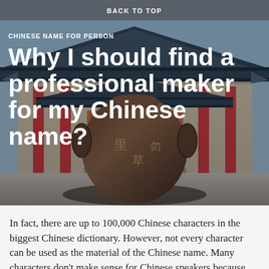BACK TO TOP
CHINESE NAME FOR PERSON
Why I should find a professional maker for my Chinese name?
[Figure (photo): Photo of a traditional Chinese temple building with red columns and ornate roof, and a large bronze decorative vessel in the foreground with Chinese characters engraved on it.]
In fact, there are up to 100,000 Chinese characters in the biggest Chinese dictionary. However, not every character can be used as the material of the Chinese name.  Many characters don't make sense for Chinese speakers because many of them are not frequently used or they are old school term.  What's more, some characters have